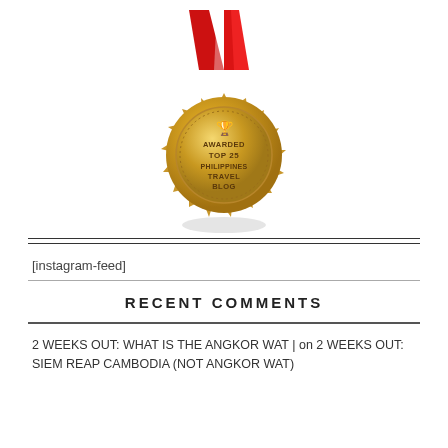[Figure (illustration): Gold award medal with red ribbon, text: AWARDED TOP 25 PHILIPPINES TRAVEL BLOG]
[instagram-feed]
RECENT COMMENTS
2 WEEKS OUT: WHAT IS THE ANGKOR WAT | on 2 WEEKS OUT: SIEM REAP CAMBODIA (NOT ANGKOR WAT)